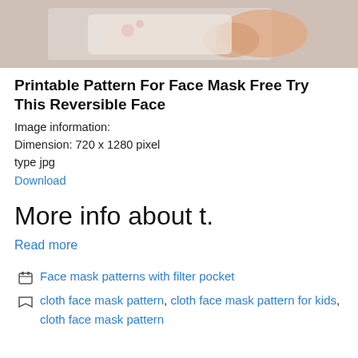[Figure (photo): Cropped photo showing hands working with fabric or paper for a face mask pattern, on a white surface.]
Printable Pattern For Face Mask Free Try This Reversible Face
Image information:
Dimension: 720 x 1280 pixel
type jpg
Download
More info about t.
Read more
Face mask patterns with filter pocket
cloth face mask pattern, cloth face mask pattern for kids, cloth face mask pattern